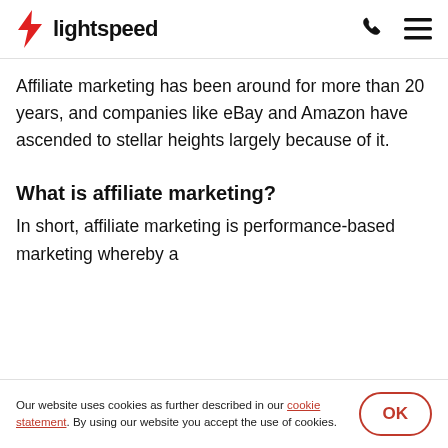lightspeed
Affiliate marketing has been around for more than 20 years, and companies like eBay and Amazon have ascended to stellar heights largely because of it.
What is affiliate marketing?
In short, affiliate marketing is performance-based marketing whereby a
Our website uses cookies as further described in our cookie statement. By using our website you accept the use of cookies.